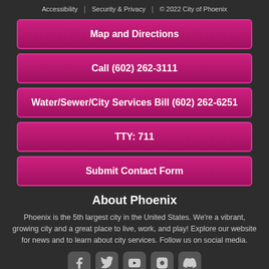Accessibility | Security & Privacy | © 2022 City of Phoenix
Map and Directions
Call (602) 262-3111
Water/Sewer/City Services Bill (602) 262-6251
TTY: 711
Submit Contact Form
About Phoenix
Phoenix is the 5th largest city in the United States. We're a vibrant, growing city and a great place to live, work, and play! Explore our website for news and to learn about city services. Follow us on social media.
[Figure (other): Row of 5 social media icon buttons (Facebook, Twitter, YouTube, Instagram, and one more) on dark background]